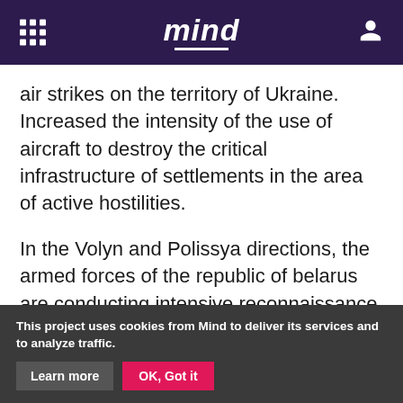mind
air strikes on the territory of Ukraine. Increased the intensity of the use of aircraft to destroy the critical infrastructure of settlements in the area of active hostilities.
In the Volyn and Polissya directions, the armed forces of the republic of belarus are conducting intensive reconnaissance, and additional units are being deployed in the border areas of the Gomel region. The threat of air and missile strikes from the territory of the republic of belarus remained.
This project uses cookies from Mind to deliver its services and to analyze traffic. Learn more OK, Got it